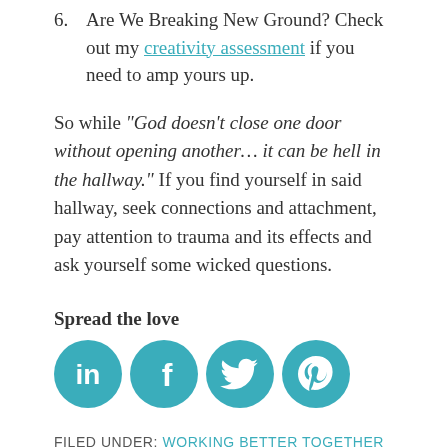6. Are We Breaking New Ground? Check out my creativity assessment if you need to amp yours up.
So while “God doesn’t close one door without opening another… it can be hell in the hallway.” If you find yourself in said hallway, seek connections and attachment, pay attention to trauma and its effects and ask yourself some wicked questions.
Spread the love
[Figure (infographic): Four teal social media share icons in circles: LinkedIn, Facebook, Twitter, Pinterest]
FILED UNDER: WORKING BETTER TOGETHER
2 Related Posts